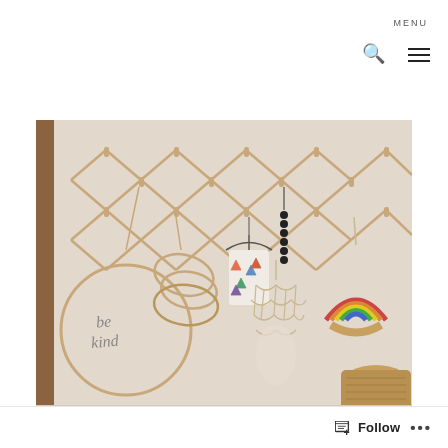MENU
[Figure (photo): A wooden accordion wall-mounted peg rack with various items hanging from it including embroidery hoops, a 'be kind' embroidery hoop art piece, a colourful baby romper on a hanger, a macrame net bag with toys, a rainbow wall hanging made of rope, and black bead garlands. A wicker basket sits at the bottom right. The wall is light cream/white.]
Follow ...